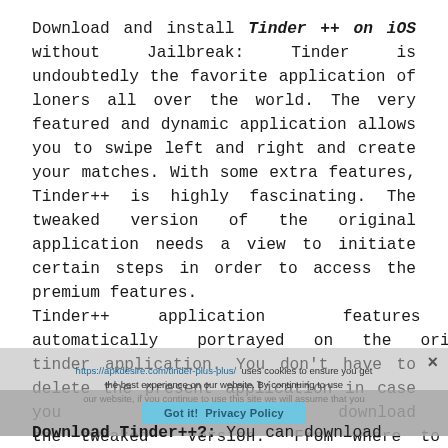Download and install Tinder ++ on iOS without Jailbreak: Tinder is undoubtedly the favorite application of loners all over the world. The very featured and dynamic application allows you to swipe left and right and create your matches. With some extra features, Tinder++ is highly fascinating. The tweaked version of the original application needs a view to initiate certain steps in order to access the premium features.
Tinder++ application features are automatically portrayed on the original tinder application. You don't have to delete the present application in case you download the tweaked version. From where to Download Tinder++?: You can download